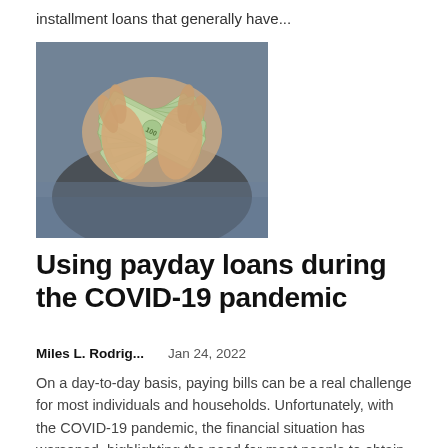installment loans that generally have...
[Figure (photo): Hands holding and fanning out US dollar bills, photo taken from above on a dark background]
Using payday loans during the COVID-19 pandemic
Miles L. Rodrig...    Jan 24, 2022
On a day-to-day basis, paying bills can be a real challenge for most individuals and households. Unfortunately, with the COVID-19 pandemic, the financial situation has worsened, highlighting the need for most people to obtain emergency...